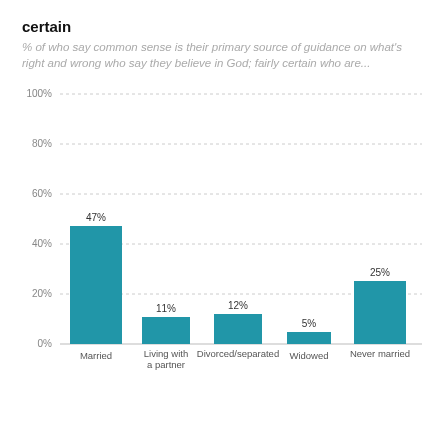certain
% of who say common sense is their primary source of guidance on what's right and wrong who say they believe in God; fairly certain who are...
[Figure (bar-chart): ]